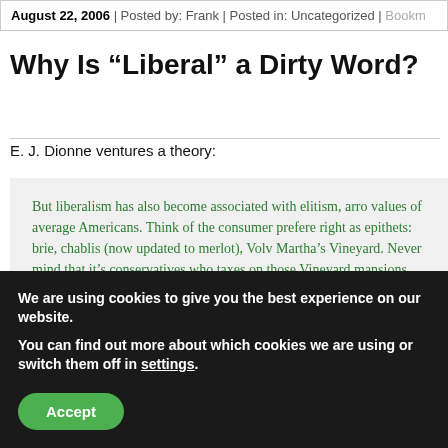August 22, 2006 | Posted by: Frank | Posted in: Uncategorized | Bookm
Why Is “Liberal” a Dirty Word?
E. J. Dionne ventures a theory:
But liberalism has also become associated with elitism, arro values of average Americans. Think of the consumer prefere right as epithets: brie, chablis (now updated to merlot), Volv Martha’s Vineyard. Never mind that it’s conservatives who taxes on those Vineyard mansions.

(snip)
We are using cookies to give you the best experience on our website.
You can find out more about which cookies we are using or switch them off in settings.